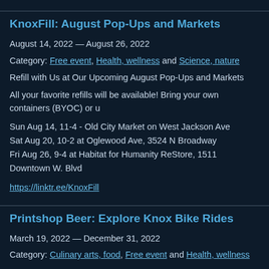KnoxFill: August Pop-Ups and Markets
August 14, 2022 — August 26, 2022
Category: Free event, Health, wellness and Science, nature
Refill with Us at Our Upcoming August Pop-Ups and Markets
All your favorite refills will be available! Bring your own containers (BYOC) or u
Sun Aug 14, 11-4 - Old City Market on West Jackson Ave
Sat Aug 20, 10-2 at Oglewood Ave, 3524 N Broadway
Fri Aug 26, 9-4 at Habitat for Humanity ReStore, 1511 Downtown W. Blvd
https://linktr.ee/KnoxFill
Printshop Beer: Explore Knox Bike Rides
March 19, 2022 — December 31, 2022
Category: Culinary arts, food, Free event and Health, wellness